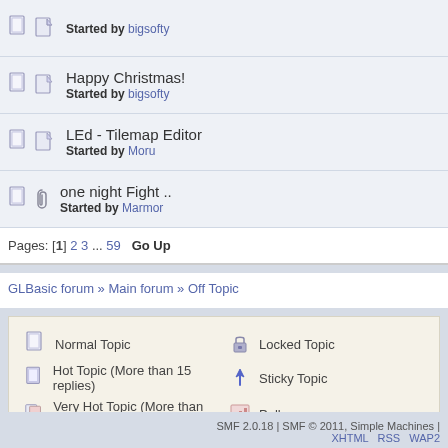Started by bigsofty
Happy Christmas! Started by bigsofty
LEd - Tilemap Editor Started by Moru
one night Fight .. Started by Marmor
Pages: [1] 2 3 ... 59 Go Up
GLBasic forum » Main forum » Off Topic
Normal Topic | Hot Topic (More than 15 replies) | Very Hot Topic (More than 25 replies) | Locked Topic | Sticky Topic | Poll
SMF 2.0.18 | SMF © 2011, Simple Machines | XHTML RSS WAP2